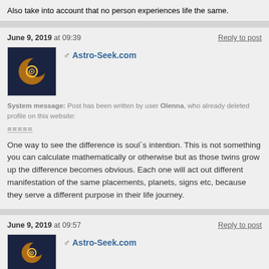Also take into account that no person experiences life the same.
June 9, 2019 at 09:39
Reply to post
[Figure (logo): Astro-Seek.com logo: dark blue background with orange crescent moon and spiral galaxy symbol]
♂ Astro-Seek.com
System message: Post has been written by user Olenna, who already deleted profile on this website:
=====
One way to see the difference is soul`s intention. This is not something you can calculate mathematically or otherwise but as those twins grow up the difference becomes obvious. Each one will act out different manifestation of the same placements, planets, signs etc, because they serve a different purpose in their life journey.
June 9, 2019 at 09:57
Reply to post
[Figure (logo): Astro-Seek.com logo: dark blue background with orange crescent moon and spiral galaxy symbol]
♂ Astro-Seek.com